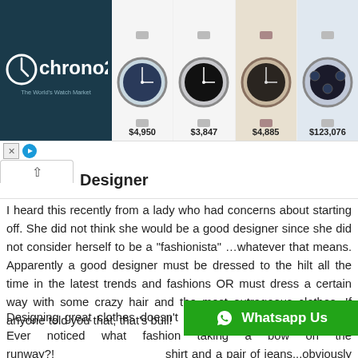[Figure (screenshot): Chrono24 advertisement banner showing logo and four luxury watches with prices $4,950, $3,847, $4,885, $123,076]
Designer
I heard this recently from a lady who had concerns about starting off. She did not think she would be a good designer since she did not consider herself to be a "fashionista" …whatever that means. Apparently a good designer must be dressed to the hilt all the time in the latest trends and fashions OR must dress a certain way with some crazy hair and the most outrageous clothes. If anyone told you that, that's bull!
Designing great clothes doesn't mean you have to wear them. Ever noticed what fash taking a bow on the runway?! shirt and a pair of jeans...obviously because many of
[Figure (screenshot): WhatsApp Us green button with WhatsApp icon]